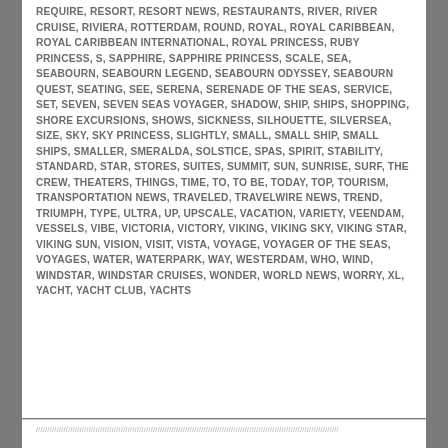REQUIRE, RESORT, RESORT NEWS, RESTAURANTS, RIVER, RIVER CRUISE, RIVIERA, ROTTERDAM, ROUND, ROYAL, ROYAL CARIBBEAN, ROYAL CARIBBEAN INTERNATIONAL, ROYAL PRINCESS, RUBY PRINCESS, S, SAPPHIRE, SAPPHIRE PRINCESS, SCALE, SEA, SEABOURN, SEABOURN LEGEND, SEABOURN ODYSSEY, SEABOURN QUEST, SEATING, SEE, SERENA, SERENADE OF THE SEAS, SERVICE, SET, SEVEN, SEVEN SEAS VOYAGER, SHADOW, SHIP, SHIPS, SHOPPING, SHORE EXCURSIONS, SHOWS, SICKNESS, SILHOUETTE, SILVERSEA, SIZE, SKY, SKY PRINCESS, SLIGHTLY, SMALL, SMALL SHIP, SMALL SHIPS, SMALLER, SMERALDA, SOLSTICE, SPAS, SPIRIT, STABILITY, STANDARD, STAR, STORES, SUITES, SUMMIT, SUN, SUNRISE, SURF, THE CREW, THEATERS, THINGS, TIME, TO, TO BE, TODAY, TOP, TOURISM, TRANSPORTATION NEWS, TRAVELED, TRAVELWIRE NEWS, TREND, TRIUMPH, TYPE, ULTRA, UP, UPSCALE, VACATION, VARIETY, VEENDAM, VESSELS, VIBE, VICTORIA, VICTORY, VIKING, VIKING SKY, VIKING STAR, VIKING SUN, VISION, VISIT, VISTA, VOYAGE, VOYAGER OF THE SEAS, VOYAGES, WATER, WATERPARK, WAY, WESTERDAM, WHO, WIND, WINDSTAR, WINDSTAR CRUISES, WONDER, WORLD NEWS, WORRY, XL, YACHT, YACHT CLUB, YACHTS
////////////////////////////////////////////////////////////////////////////////////////////////////////////////////////////////////